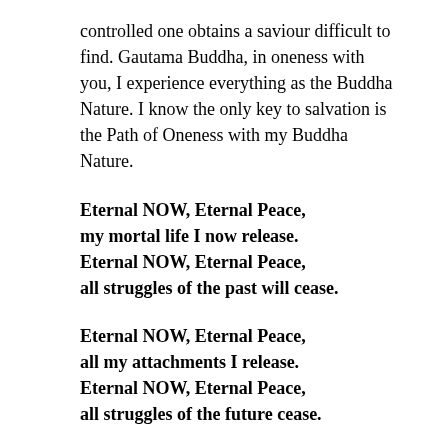controlled one obtains a saviour difficult to find. Gautama Buddha, in oneness with you, I experience everything as the Buddha Nature. I know the only key to salvation is the Path of Oneness with my Buddha Nature.
Eternal NOW, Eternal Peace,
my mortal life I now release.
Eternal NOW, Eternal Peace,
all struggles of the past will cease.
Eternal NOW, Eternal Peace,
all my attachments I release.
Eternal NOW, Eternal Peace,
all struggles of the future cease.
Eternal NOW, Eternal Peace,
the separate self I now release.
Eternal NOW, Eternal Peace,